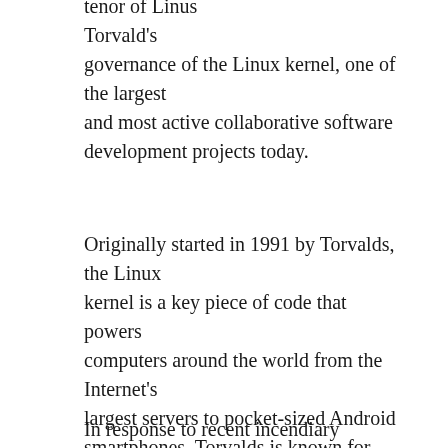tenor of Linus Torvald's governance of the Linux kernel, one of the largest and most active collaborative software development projects today.
Originally started in 1991 by Torvalds, the Linux kernel is a key piece of code that powers computers around the world from the Internet's largest servers to pocket-sized Android smartphones. Torvalds is known for dealing brusquely with the project's contributors, often rejecting what he considers to be poor programming, publicly, in colorful and sometimes overwrought language.
In response to recent incendiary comments by